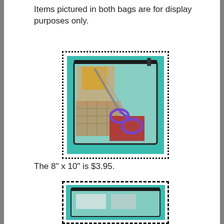Items pictured in both bags are for display purposes only.
[Figure (photo): Clear vinyl zippered bag containing fabric pieces and purple-handled scissors, displayed on a teal cutting mat. Surrounded by a dotted border.]
The 8" x 10" is $3.95.
[Figure (photo): Partial view of another clear bag on a teal cutting mat, surrounded by a dashed border. Only the top portion is visible.]